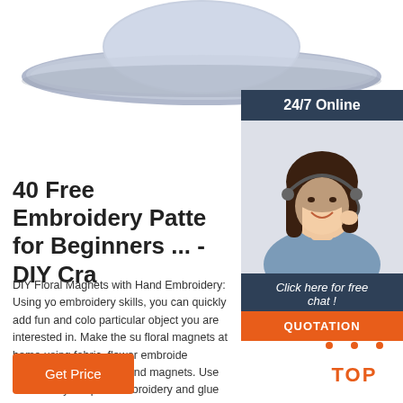[Figure (photo): Gray wide-brim sun hat, cropped, top portion visible]
[Figure (photo): Sidebar with '24/7 Online' header, photo of woman with headset smiling, 'Click here for free chat!' text, and orange QUOTATION button]
40 Free Embroidery Patterns for Beginners ... - DIY Cra
DIY Floral Magnets with Hand Embroidery: Using your embroidery skills, you can quickly add fun and color to a particular object you are interested in. Make the super floral magnets at home using fabric, flower embroidery patterns, cover button, and magnets. Use embroidery hoop for embroidery and glue for adhesive demands.
[Figure (other): Orange 'Get Price' button]
[Figure (other): Orange dotted triangle 'TOP' back-to-top button]